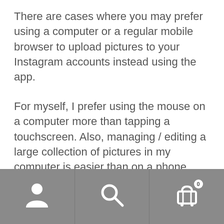There are cases where you may prefer using a computer or a regular mobile browser to upload pictures to your Instagram accounts instead using the app.
For myself, I prefer using the mouse on a computer more than tapping a touchscreen. Also, managing / editing a large collection of pictures in my computer is easier than on a phone.
This article will explain in detail how you can do this easily, but I will also list some safety steps that can help in setting up multiple Instagram accounts from the same computer.